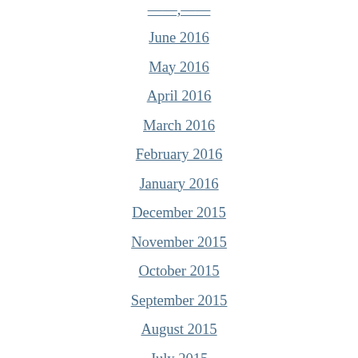June 2016
May 2016
April 2016
March 2016
February 2016
January 2016
December 2015
November 2015
October 2015
September 2015
August 2015
July 2015
June 2015
May 2015
April 2015
March 2015
February 2015
January 2015
December 2014